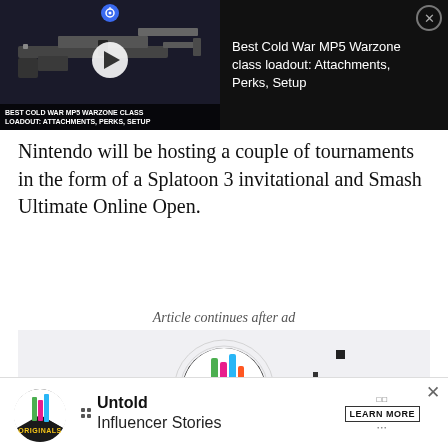[Figure (screenshot): Video ad thumbnail showing a gun (MP5) on dark background with play button and channel icon, and text panel reading 'Best Cold War MP5 Warzone class loadout: Attachments, Perks, Setup' with close button]
Nintendo will be hosting a couple of tournaments in the form of a Splatoon 3 invitational and Smash Ultimate Online Open.
Article continues after ad
[Figure (logo): Originals logo — circular black and white design with colorful geometric shapes and yellow 'ORIGINALS' text on dark circle background]
[Figure (screenshot): Bottom advertisement bar: Originals logo on left, 'Untold Influencer Stories' text in center, 'LEARN MORE' button on right, X close button top right]